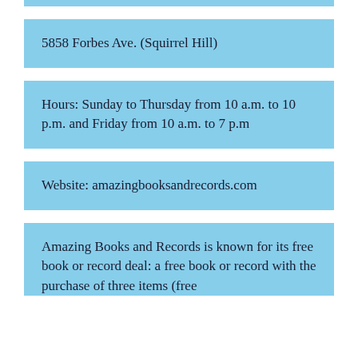5858 Forbes Ave. (Squirrel Hill)
Hours: Sunday to Thursday from 10 a.m. to 10 p.m. and Friday from 10 a.m. to 7 p.m
Website: amazingbooksandrecords.com
Amazing Books and Records is known for its free book or record deal: a free book or record with the purchase of three items (free items capped at $10). The store prides